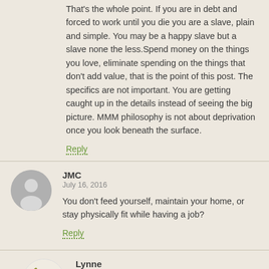That's the whole point. If you are in debt and forced to work until you die you are a slave, plain and simple. You may be a happy slave but a slave none the less.Spend money on the things you love, eliminate spending on the things that don't add value, that is the point of this post. The specifics are not important. You are getting caught up in the details instead of seeing the big picture. MMM philosophy is not about deprivation once you look beneath the surface.
Reply
JMC
July 16, 2016
You don't feed yourself, maintain your home, or stay physically fit while having a job?
Reply
[Figure (illustration): Circular avatar showing a wine bottle pouring into a glass, used as profile picture for Lynne]
Lynne
July 21, 2016
JMC, I feed myself and my family – I do 95% of the cooking, and we eat an average of 5...